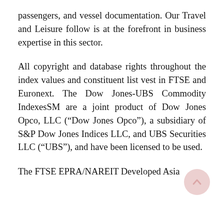passengers, and vessel documentation. Our Travel and Leisure follow is at the forefront in business expertise in this sector.
All copyright and database rights throughout the index values and constituent list vest in FTSE and Euronext. The Dow Jones-UBS Commodity IndexesSM are a joint product of Dow Jones Opco, LLC (“Dow Jones Opco”), a subsidiary of S&P Dow Jones Indices LLC, and UBS Securities LLC (“UBS”), and have been licensed to be used.
The FTSE EPRA/NAREIT Developed Asia Div...